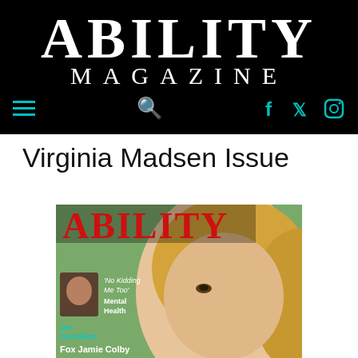ABILITY MAGAZINE
Virginia Madsen Issue
[Figure (photo): Cover of ABILITY magazine featuring Virginia Madsen with bold red ABILITY title text, Joe Pantoliano inset, and text 'No Kidding Me Too Mental Health', 'Fox Jamie Colby']